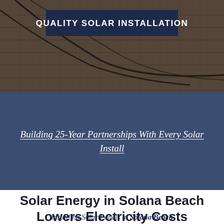[Figure (photo): Aerial/close-up photo of solar panels being installed on a roof, showing dark cables and roof tiles with a worker visible]
QUALITY SOLAR INSTALLATION
Building 25-Year Partnerships With Every Solar Install
Solar Energy in Solana Beach Lowers Electricity Costs
Installing Solar Panels in Solana Beach Will Save Money